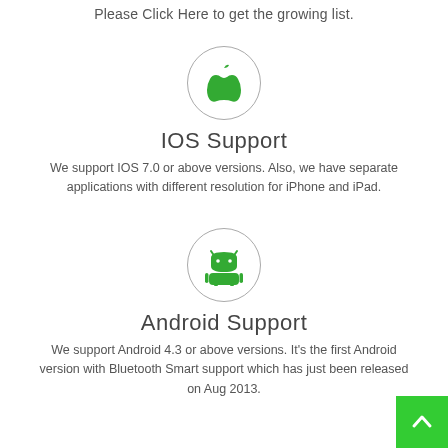Please Click Here to get the growing list.
[Figure (logo): Apple logo in a circle, green colored]
IOS Support
We support IOS 7.0 or above versions. Also, we have separate applications with different resolution for iPhone and iPad.
[Figure (logo): Android robot logo in a circle, green colored]
Android Support
We support Android 4.3 or above versions. It's the first Android version with Bluetooth Smart support which has just been released on Aug 2013.